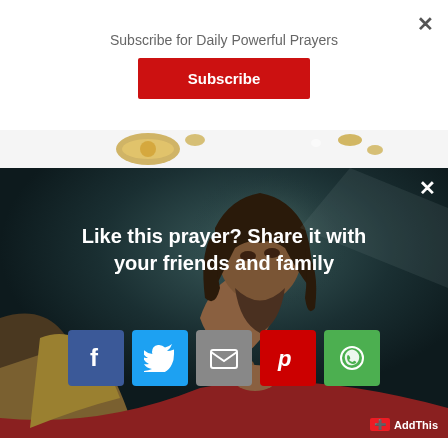Subscribe for Daily Powerful Prayers
Subscribe
[Figure (photo): Partial view of a gold rosary with decorative cross and pearl beads against a white background]
[Figure (photo): Painting of Jesus Christ looking upward in prayer, dark teal/blue background, with share overlay. Contains share buttons for Facebook, Twitter, Email, Pinterest, WhatsApp, and AddThis branding.]
Like this prayer? Share it with your friends and family
AddThis